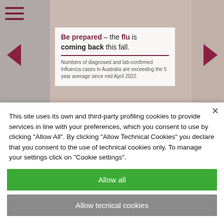[Figure (screenshot): Website screenshot showing a health-related image carousel with a woman lying down ill, overlaid with text about flu preparedness. Navigation arrows on left and right. Hamburger menu top left.]
Be prepared – the flu is coming back this fall. Numbers of diagnosed and lab-confirmed influenza cases in Australia are exceeding the 5 year average since mid April 2022.
This site uses its own and third-party profiling cookies to provide services in line with your preferences, which you consent to use by clicking "Allow All". By clicking "Allow Technical Cookies" you declare that you consent to the use of technical cookies only. To manage your settings click on "Cookie settings".
Allow all
Allow tecnical cookies
Cookie settings